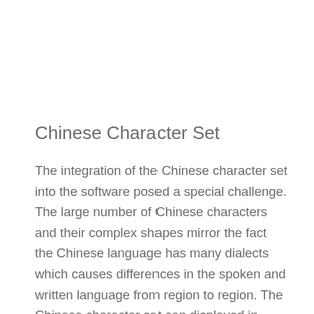Chinese Character Set
The integration of the Chinese character set into the software posed a special challenge. The large number of Chinese characters and their complex shapes mirror the fact the Chinese language has many dialects which causes differences in the spoken and written language from region to region. The Chinese character set can displayed in dialogs without any difficulty. Text can be transferred from Word or Excel using Copy&Paste.